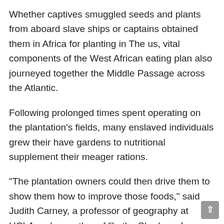Whether captives smuggled seeds and plants from aboard slave ships or captains obtained them in Africa for planting in The us, vital components of the West African eating plan also journeyed together the Middle Passage across the Atlantic.
Following prolonged times spent operating on the plantation's fields, many enslaved individuals grew their have gardens to nutritional supplement their meager rations.
"The plantation owners could then drive them to show them how to improve those foods," said Judith Carney, a professor of geography at UCLA and co-author of "In the Shadow of Slavery: Africa's Botanical Legacy in the Atlantic World" (College of California Press, 2011).
"Those crops would then come to be commodities," stated